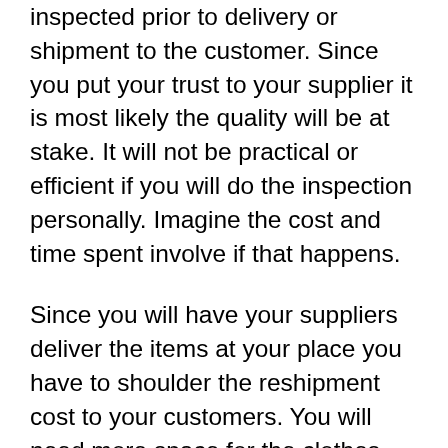inspected prior to delivery or shipment to the customer. Since you put your trust to your supplier it is most likely the quality will be at stake. It will not be practical or efficient if you will do the inspection personally. Imagine the cost and time spent involve if that happens.
Since you will have your suppliers deliver the items at your place you have to shoulder the reshipment cost to your customers. You will need more space for the clothes that you will inspect. In addition, it will only be applicable if you have manageable orders because if you need to inspect tons of clothes all by yourself you will not meet the delivery date and will fail to address other important business and customer concerns.